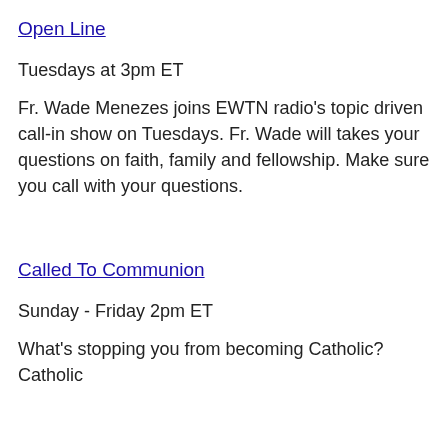Open Line
Tuesdays at 3pm ET
Fr. Wade Menezes joins EWTN radio’s topic driven call-in show on Tuesdays. Fr. Wade will takes your questions on faith, family and fellowship. Make sure you call with your questions.
Called To Communion
Sunday - Friday 2pm ET
What’s stopping you from becoming Catholic? Catholic